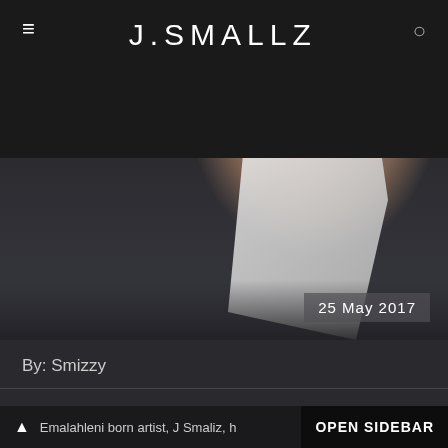J.SMALLZ
[Figure (photo): Portrait photo of J Smallz, a male artist wearing a white garment against a dark background, with date badge showing 25 May 2017]
By: Smizzy
When was the last time you heard good RnB and Soul music about love and being in love and all that good stuff? It's been a while right? Well, multi-talented vocalist, producer and instrumentalist, J Smallz has served his with his EP titled, Songs About Women.
Emalahleni born artist, J Smaliz, h... OPEN SIDEBAR